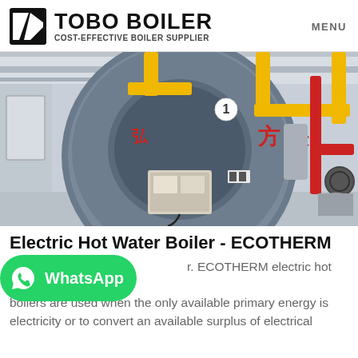TOBO BOILER COST-EFFECTIVE BOILER SUPPLIER | MENU
[Figure (photo): Industrial boiler with gray cylindrical body, yellow and red pipes, Chinese text '方快' and number '1' on front panel, in a factory setting.]
Electric Hot Water Boiler - ECOTHERM
[Figure (logo): WhatsApp button - green rounded rectangle with WhatsApp phone icon and 'WhatsApp' label in white]
ECOTHERM electric hot water boilers are used when the only available primary energy is electricity or to convert an available surplus of electrical